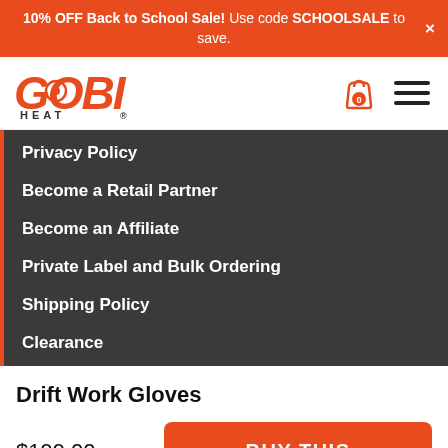10% OFF Back to School Sale! Use code SCHOOLSALE to save.
[Figure (logo): GOBI HEAT logo in orange and dark gray]
Privacy Policy
Become a Retail Partner
Become an Affiliate
Private Label and Bulk Ordering
Shipping Policy
Clearance
Drift Work Gloves
$199.00
BUY THIS